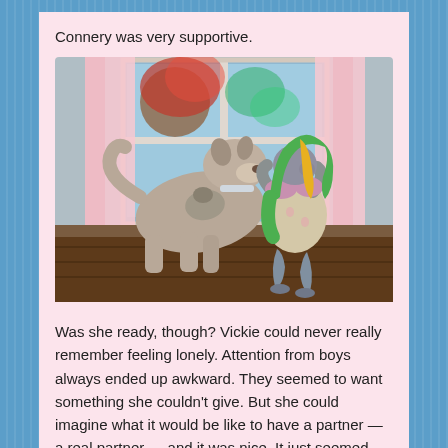Connery was very supportive.
[Figure (illustration): A 3D rendered scene (Sims-style) showing a grey-skinned female character with long green and yellow hair, crouching down and interacting nose-to-nose with a large dog (resembling an Akita or similar breed). They are indoors near a window with pink curtains and a view of trees outside. The floor is dark wood.]
Was she ready, though? Vickie could never really remember feeling lonely. Attention from boys always ended up awkward. They seemed to want something she couldn't give. But she could imagine what it would be like to have a partner — a real partner — and it was nice. It just seemed like such a remote fantasy,